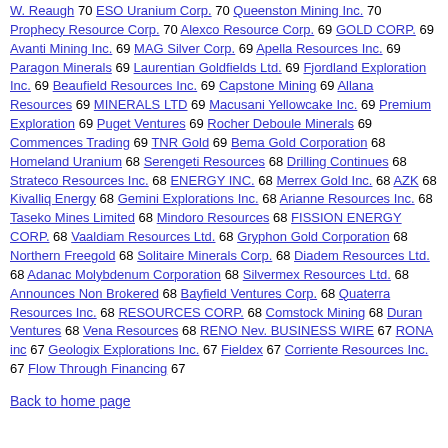W. Reaugh 70 ESO Uranium Corp. 70 Queenston Mining Inc. 70 Prophecy Resource Corp. 70 Alexco Resource Corp. 69 GOLD CORP. 69 Avanti Mining Inc. 69 MAG Silver Corp. 69 Apella Resources Inc. 69 Paragon Minerals 69 Laurentian Goldfields Ltd. 69 Fjordland Exploration Inc. 69 Beaufield Resources Inc. 69 Capstone Mining 69 Allana Resources 69 MINERALS LTD 69 Macusani Yellowcake Inc. 69 Premium Exploration 69 Puget Ventures 69 Rocher Deboule Minerals 69 Commences Trading 69 TNR Gold 69 Bema Gold Corporation 68 Homeland Uranium 68 Serengeti Resources 68 Drilling Continues 68 Strateco Resources Inc. 68 ENERGY INC. 68 Merrex Gold Inc. 68 AZK 68 Kivalliq Energy 68 Gemini Explorations Inc. 68 Arianne Resources Inc. 68 Taseko Mines Limited 68 Mindoro Resources 68 FISSION ENERGY CORP. 68 Vaaldiam Resources Ltd. 68 Gryphon Gold Corporation 68 Northern Freegold 68 Solitaire Minerals Corp. 68 Diadem Resources Ltd. 68 Adanac Molybdenum Corporation 68 Silvermex Resources Ltd. 68 Announces Non Brokered 68 Bayfield Ventures Corp. 68 Quaterra Resources Inc. 68 RESOURCES CORP. 68 Comstock Mining 68 Duran Ventures 68 Vena Resources 68 RENO Nev. BUSINESS WIRE 67 RONA inc 67 Geologix Explorations Inc. 67 Fieldex 67 Corriente Resources Inc. 67 Flow Through Financing 67
Back to home page